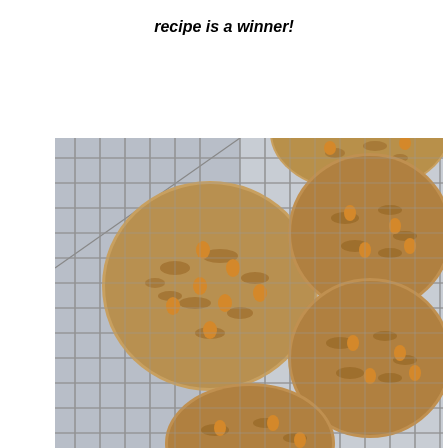recipe is a winner!
[Figure (photo): Overhead view of oatmeal butterscotch chip cookies cooling on a wire rack against a light blue/grey background. Multiple large, thick cookies with visible oats and butterscotch chips are arranged on the metal grid cooling rack.]